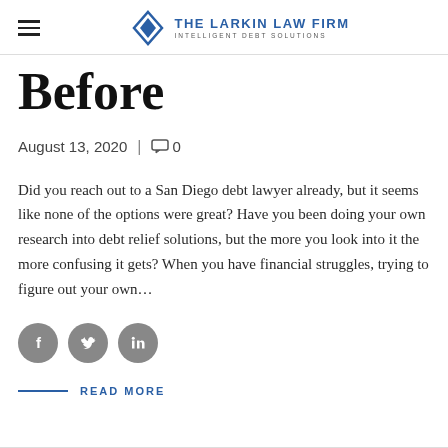The Larkin Law Firm — Intelligent Debt Solutions
Before
August 13, 2020 | 0
Did you reach out to a San Diego debt lawyer already, but it seems like none of the options were great? Have you been doing your own research into debt relief solutions, but the more you look into it the more confusing it gets? When you have financial struggles, trying to figure out your own…
[Figure (illustration): Social media share icons: Facebook, Twitter, LinkedIn — grey circles with white logos]
READ MORE